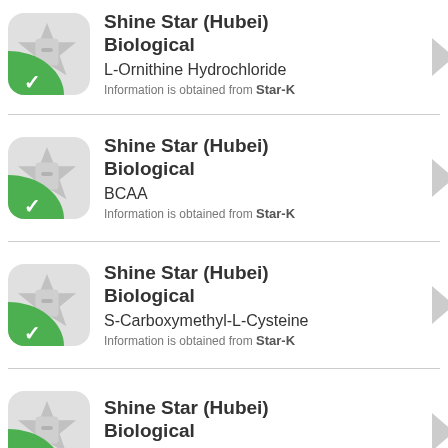Shine Star (Hubei) Biological | L-Ornithine Hydrochloride | Information is obtained from Star-K
Shine Star (Hubei) Biological | BCAA | Information is obtained from Star-K
Shine Star (Hubei) Biological | S-Carboxymethyl-L-Cysteine | Information is obtained from Star-K
Shine Star (Hubei) Biological | L-Glutamic Acid